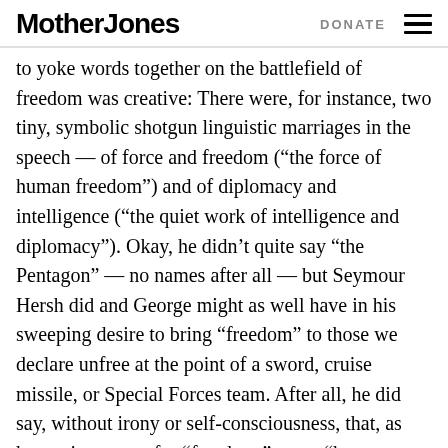Mother Jones  DONATE
to yoke words together on the battlefield of freedom was creative: There were, for instance, two tiny, symbolic shotgun linguistic marriages in the speech — of force and freedom (“the force of human freedom”) and of diplomacy and intelligence (“the quiet work of intelligence and diplomacy”). Okay, he didn’t quite say “the Pentagon” — no names after all — but Seymour Hersh did and George might as well have in his sweeping desire to bring “freedom” to those we declare unfree at the point of a sword, cruise missile, or Special Forces team. After all, he did say, without irony or self-consciousness, that, as humanity yearns for “freedom,” so no “human being aspires to live at the mercy of bullies.”